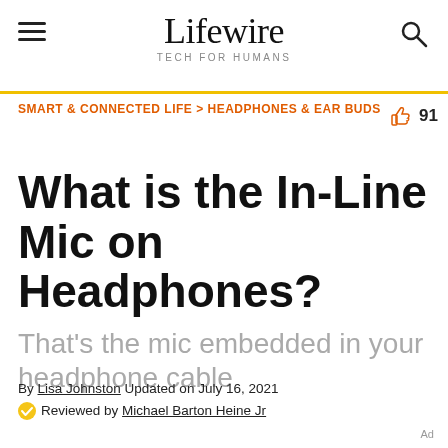Lifewire TECH FOR HUMANS
SMART & CONNECTED LIFE > HEADPHONES & EAR BUDS
What is the In-Line Mic on Headphones?
That's the mic embedded in your headphone cable
By Lisa Johnston Updated on July 16, 2021
Reviewed by Michael Barton Heine Jr